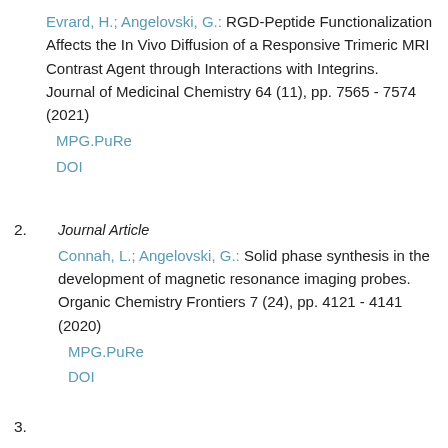Evrard, H.; Angelovski, G.: RGD-Peptide Functionalization Affects the In Vivo Diffusion of a Responsive Trimeric MRI Contrast Agent through Interactions with Integrins. Journal of Medicinal Chemistry 64 (11), pp. 7565 - 7574 (2021)
MPG.PuRe
DOI
Journal Article
Connah, L.; Angelovski, G.: Solid phase synthesis in the development of magnetic resonance imaging probes. Organic Chemistry Frontiers 7 (24), pp. 4121 - 4141 (2020)
MPG.PuRe
DOI
3.